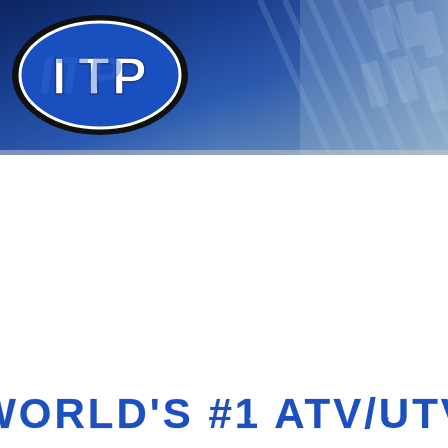[Figure (logo): ITP brand banner header with blue gradient background, ITP logo oval on left, tire/tread detail visible on right side]
WORLD'S #1 ATV/UTV